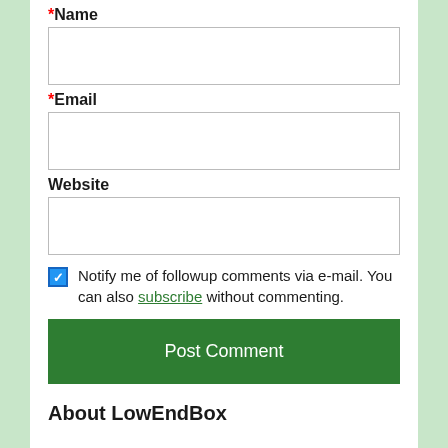*Name
[Figure (screenshot): Empty text input field for Name]
*Email
[Figure (screenshot): Empty text input field for Email]
Website
[Figure (screenshot): Empty text input field for Website]
Notify me of followup comments via e-mail. You can also subscribe without commenting.
Post Comment
About LowEndBox